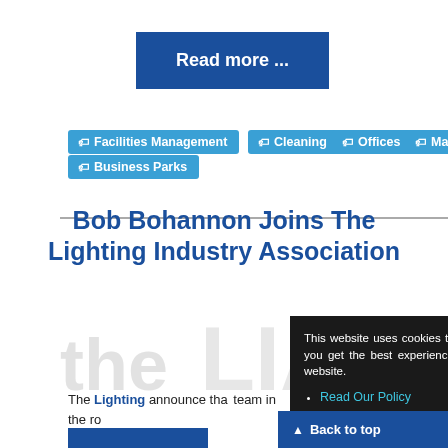Read more ...
Facilities Management
Cleaning
Offices
Maintenance
Business Parks
Bob Bohannon Joins The Lighting Industry Association
[Figure (logo): LIA logo with red/orange flame graphic and circular badge]
The Lighting [Industry Association] announce that... team in the ro...
This website uses cookies to ensure you get the best experience on our website.
Read Our Policy
Got It!
Back to top